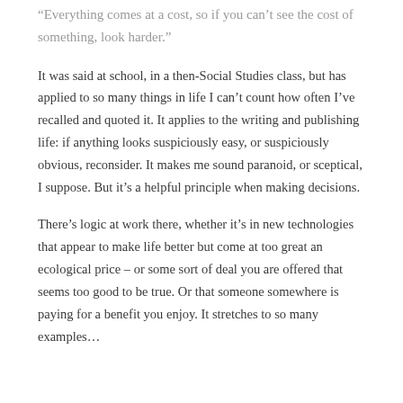“Everything comes at a cost, so if you can’t see the cost of something, look harder.”
It was said at school, in a then-Social Studies class, but has applied to so many things in life I can’t count how often I’ve recalled and quoted it. It applies to the writing and publishing life: if anything looks suspiciously easy, or suspiciously obvious, reconsider. It makes me sound paranoid, or sceptical, I suppose. But it’s a helpful principle when making decisions.
There’s logic at work there, whether it’s in new technologies that appear to make life better but come at too great an ecological price – or some sort of deal you are offered that seems too good to be true. Or that someone somewhere is paying for a benefit you enjoy. It stretches to so many examples...